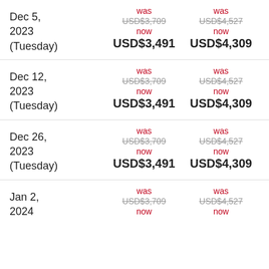| Date | Price Option 1 | Price Option 2 |
| --- | --- | --- |
| Dec 5, 2023 (Tuesday) | was USD$3,709 / now USD$3,491 | was USD$4,527 / now USD$4,309 |
| Dec 12, 2023 (Tuesday) | was USD$3,709 / now USD$3,491 | was USD$4,527 / now USD$4,309 |
| Dec 26, 2023 (Tuesday) | was USD$3,709 / now USD$3,491 | was USD$4,527 / now USD$4,309 |
| Jan 2, 2024 | was USD$3,709 / now | was USD$4,527 / now |